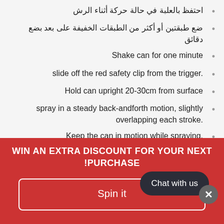احتفظ بالعلبة في حالة حركة أثناء الرش
ضع طبقتين أو أكثر من الطبقات الخفيفة على بعد بضع دقائق
Shake can for one minute
slide off the red safety clip from the trigger.
Hold can upright 20-30cm from surface
spray in a steady back-andforth motion, slightly overlapping each stroke.
Keep the can in motion while spraying.
WIN AN EXTRA DISCOUNT FOR YOUR NEXT !PURCHASE
Spin it
Chat with us